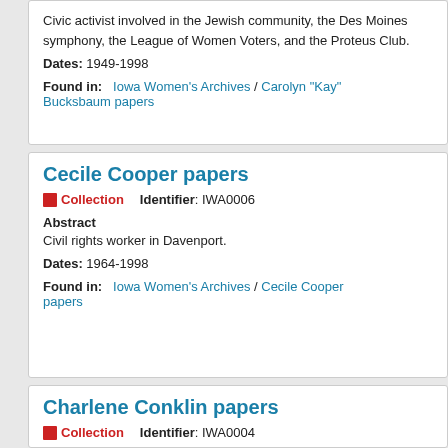Civic activist involved in the Jewish community, the Des Moines symphony, the League of Women Voters, and the Proteus Club.
Dates: 1949-1998
Found in: Iowa Women's Archives / Carolyn "Kay" Bucksbaum papers
Cecile Cooper papers
Collection   Identifier: IWA0006
Abstract
Civil rights worker in Davenport.
Dates: 1964-1998
Found in: Iowa Women's Archives / Cecile Cooper papers
Charlene Conklin papers
Collection   Identifier: IWA0004
Abstract
Member of the Iowa House of Representatives 1967...